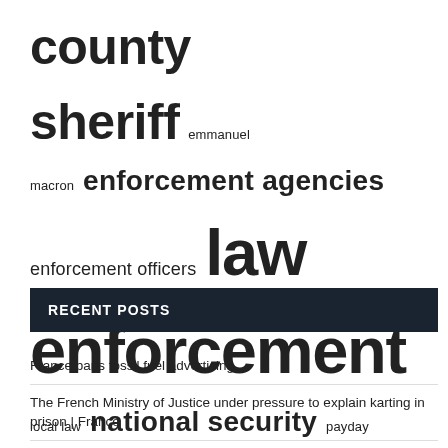[Figure (infographic): Tag/word cloud with terms related to law enforcement and government. Larger text indicates higher frequency. Terms include: county sheriff, emmanuel macron, enforcement agencies, enforcement officers, law enforcement, local law, national security, payday loans, police chief, police department, police officers, prime minister, public safety, sheriff office, united states.]
RECENT POSTS
France bans fossil fuel advertising
The French Ministry of Justice under pressure to explain karting in prison | France
Stabenow-Boozman Proposed Bill Fails To Bring Regulatory Certainty To Digital Asset Space | Jones Day